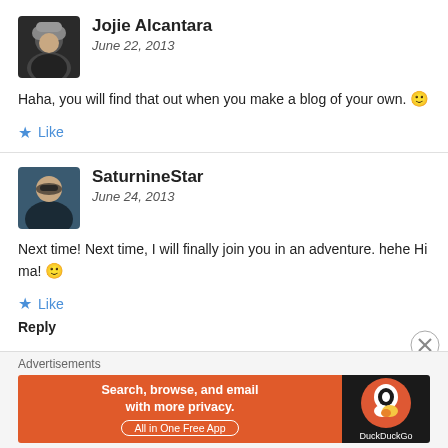[Figure (photo): Avatar photo of Jojie Alcantara - person in winter hat and dark jacket]
Jojie Alcantara
June 22, 2013
Haha, you will find that out when you make a blog of your own. 🙂
★ Like
[Figure (photo): Avatar photo of SaturnineStar - person with sunglasses]
SaturnineStar
June 24, 2013
Next time! Next time, I will finally join you in an adventure. hehe Hi ma! 🙂
★ Like
Reply
Advertisements
[Figure (screenshot): DuckDuckGo advertisement banner - Search, browse, and email with more privacy. All in One Free App]